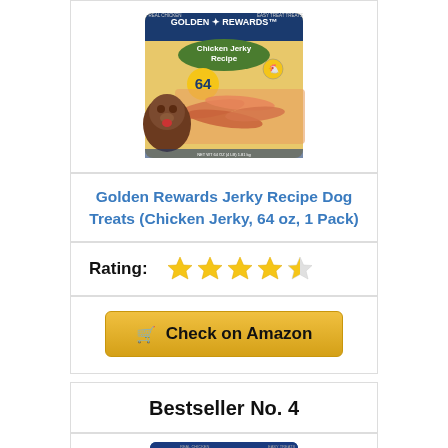[Figure (photo): Golden Rewards Chicken Jerky Recipe dog treats package (64 oz, 1 Pack) with a brown dog and chicken jerky strips visible]
Golden Rewards Jerky Recipe Dog Treats (Chicken Jerky, 64 oz, 1 Pack)
Rating: ★★★★☆
Check on Amazon
Bestseller No. 4
[Figure (photo): Partial view of another Golden Rewards dog treats package at the bottom of the page]